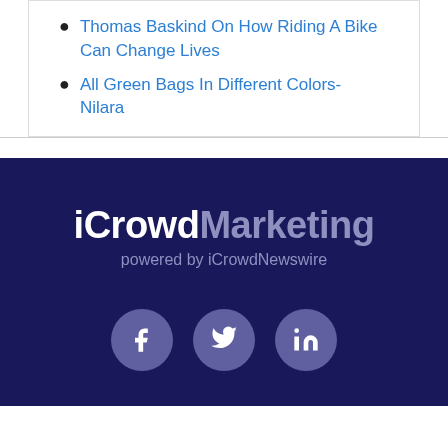Thomas Baskind On How Riding A Bike Can Change Lives
All Green Bags In Different Colors- Nilara
[Figure (logo): iCrowdMarketing logo with text 'powered by iCrowdNewswire' and social media icons for Facebook, Twitter, and LinkedIn on a dark navy background]